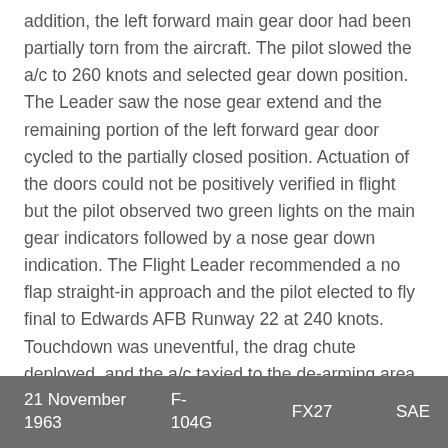addition, the left forward main gear door had been partially torn from the aircraft. The pilot slowed the a/c to 260 knots and selected gear down position. The Leader saw the nose gear extend and the remaining portion of the left forward gear door cycled to the partially closed position. Actuation of the doors could not be positively verified in flight but the pilot observed two green lights on the main gear indicators followed by a nose gear down indication. The Flight Leader recommended a no flap straight-in approach and the pilot elected to fly final to Edwards AFB Runway 22 at 240 knots. Touchdown was uneventful, the drag chute deployed, and the a/c taxied to the de-arming area where the pilot disembarked without injury. The IFS owns a copy of the official USAF accident report.
|  | F-104G | FX27 | SAE |
| --- | --- | --- | --- |
| 21 November 1963 |  |  |  |